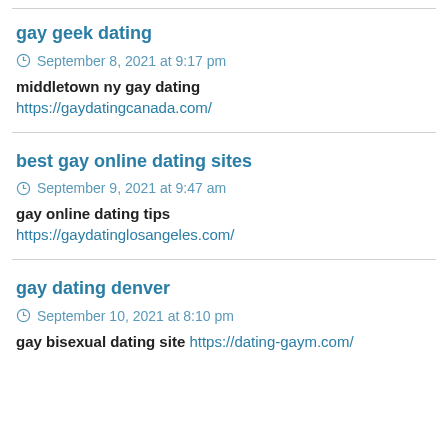gay geek dating
September 8, 2021 at 9:17 pm
middletown ny gay dating https://gaydatingcanada.com/
best gay online dating sites
September 9, 2021 at 9:47 am
gay online dating tips https://gaydatinglosangeles.com/
gay dating denver
September 10, 2021 at 8:10 pm
gay bisexual dating site https://dating-gaym.com/